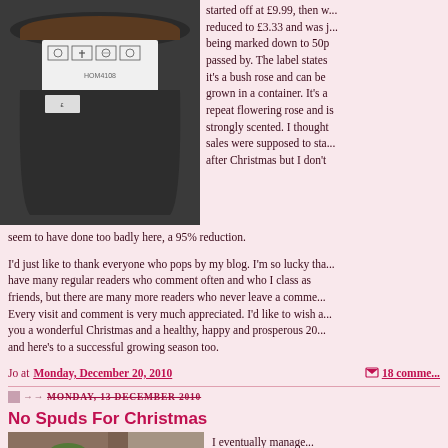[Figure (photo): Black plant pot with a price label showing 'Multi-buy REDUCED FOR QUICK SALE £3.33 50p', code HOM4108]
started off at £9.99, then was reduced to £3.33 and was just being marked down to 50p as I passed by. The label states it's a bush rose and can be grown in a container. It's a repeat flowering rose and is strongly scented. I thought sales were supposed to start after Christmas but I don't seem to have done too badly here, a 95% reduction.
I'd just like to thank everyone who pops by my blog. I'm so lucky that I have many regular readers who comment often and who I class as friends, but there are many more readers who never leave a comment. Every visit and comment is very much appreciated. I'd like to wish all you a wonderful Christmas and a healthy, happy and prosperous 2011 and here's to a successful growing season too.
Jo at Monday, December 20, 2010   18 comments
MONDAY, 13 DECEMBER 2010
No Spuds For Christmas
[Figure (photo): Overhead view of soil and green leaves, possibly potato or plant material]
I eventually managed to get back in to my